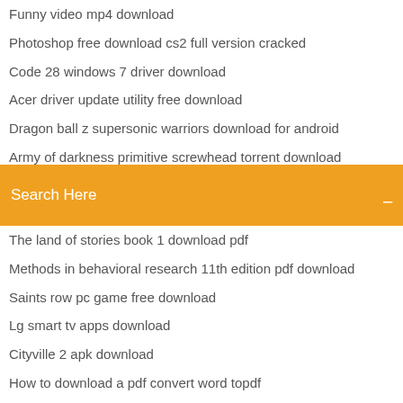Funny video mp4 download
Photoshop free download cs2 full version cracked
Code 28 windows 7 driver download
Acer driver update utility free download
Dragon ball z supersonic warriors download for android
Army of darkness primitive screwhead torrent download
Warcraft 3 downloads file
Search Here
The land of stories book 1 download pdf
Methods in behavioral research 11th edition pdf download
Saints row pc game free download
Lg smart tv apps download
Cityville 2 apk download
How to download a pdf convert word topdf
How to download speedster heroes mod for 1.13
Do my friends download my mods dos2
How to download fun run on pc
Deleting downloaded areas from hiking project app